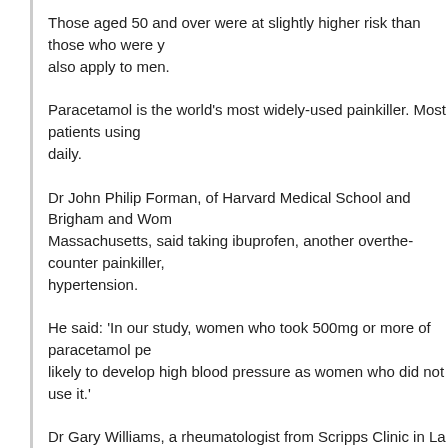Those aged 50 and over were at slightly higher risk than those who were younger. The findings may also apply to men.
Paracetamol is the world's most widely-used painkiller. Most patients using it for pain take it daily.
Dr John Philip Forman, of Harvard Medical School and Brigham and Women's Hospital in Massachusetts, said taking ibuprofen, another overthe- counter painkiller, also increased the risk of hypertension.
He said: 'In our study, women who took 500mg or more of paracetamol per day were twice as likely to develop high blood pressure as women who did not use it.'
Dr Gary Williams, a rheumatologist from Scripps Clinic in La Jolla, California, said there was pressure to switch arthritic patients from prescription drugs called coxibs to paracetamol because of heart problems.
But Dr Geoffrey Brandon, of the Paracetamol Information Centre, said that while there was an association between paracetamol and hypertension, there was no reason to change prescribing habits based on the findings. :